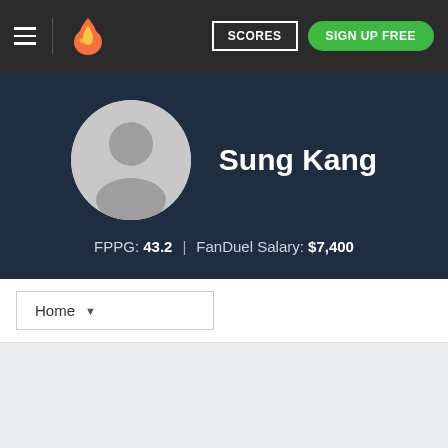SCORES | SIGN UP FREE
Sung Kang
FPPG: 43.2  |  FanDuel Salary: $7,400
Home
Recent Player News